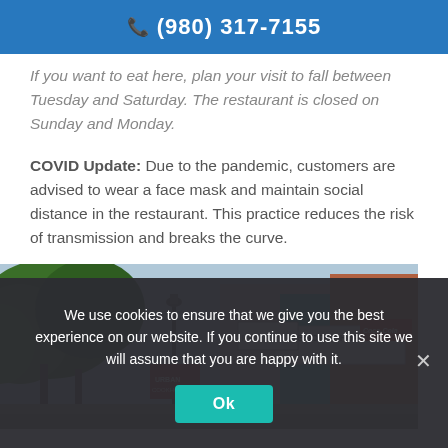(980) 317-7155
If you want to eat here, plan your visit to fall between Tuesday and Saturday. The restaurant is closed on Sunday and Monday.
COVID Update: Due to the pandemic, customers are advised to wear a face mask and maintain social distance in the restaurant. This practice reduces the risk of transmission and breaks the curve.
[Figure (photo): Street scene showing a row of shops including The Soda Shop with Coca-Cola sign and other storefronts, trees in background]
We use cookies to ensure that we give you the best experience on our website. If you continue to use this site we will assume that you are happy with it.